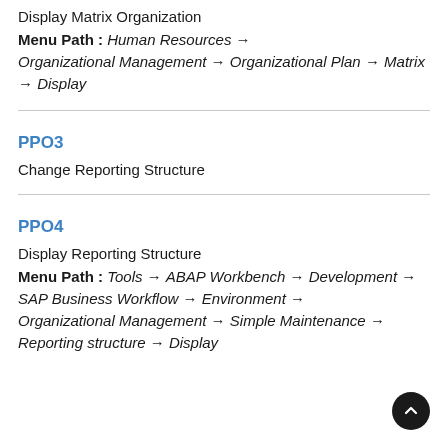Display Matrix Organization
Menu Path : Human Resources → Organizational Management → Organizational Plan → Matrix → Display
PPO3
Change Reporting Structure
PPO4
Display Reporting Structure
Menu Path : Tools → ABAP Workbench → Development → SAP Business Workflow → Environment → Organizational Management → Simple Maintenance → Reporting structure → Display